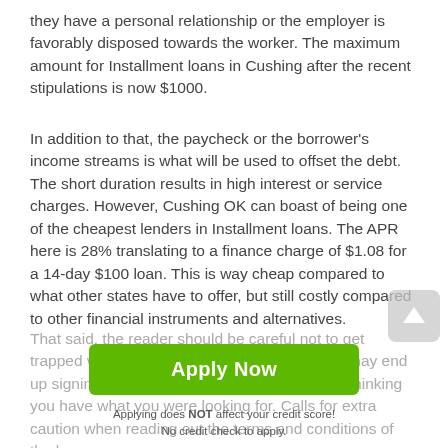they have a personal relationship or the employer is favorably disposed towards the worker. The maximum amount for Installment loans in Cushing after the recent stipulations is now $1000.
In addition to that, the paycheck or the borrower's income streams is what will be used to offset the debt. The short duration results in high interest or service charges. However, Cushing OK can boast of being one of the cheapest lenders in Installment loans. The APR here is 28% translating to a finance charge of $1.08 for a 14-day $100 loan. This is way cheap compared to what other states have to offer, but still costly compared to other financial instruments and alternatives.
That said, the reader should be careful not to get trapped when hunting for cash advances. You may end up signing up for an installment loan all along, thinking you have what you were looking for. Calls for extra caution when reading out the terms and conditions of the l...
[Figure (other): Green 'Apply Now' button with subtext: 'Applying does NOT affect your credit score! No credit check to apply.']